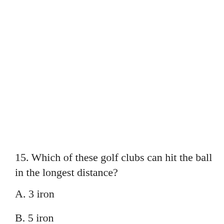15. Which of these golf clubs can hit the ball in the longest distance?
A. 3 iron
B. 5 iron